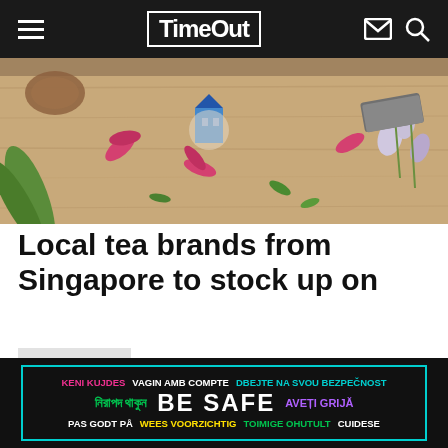Time Out
[Figure (photo): Flat lay photo of dried flowers, green plants, a small blue building figurine, and craft items arranged on a wooden surface]
Local tea brands from Singapore to stock up on
Restaurants
Read more
[Figure (infographic): Public safety advertisement banner with multilingual text: KENI KUJDES, VAGIN AMB COMPTE, DBEJTE NA SVOU BEZPECNOST, নিরাপদ থাকুন, BE SAFE, AVETI GRIJA, PAS GODT PA, WEES VOORZICHTIG, TOIMIGE OHUTULT, CUIDESE]